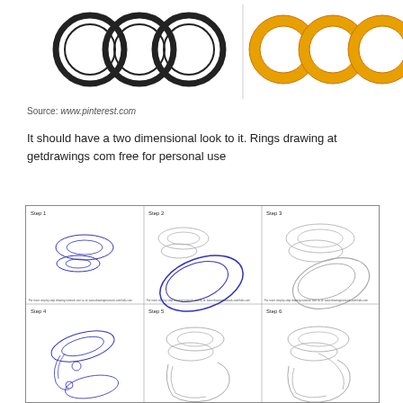[Figure (illustration): Top left: outline drawing of three interlocking rings (Olympic-style rings) in black outline. Top right: same rings filled with golden/yellow color with orange outline.]
Source: www.pinterest.com
It should have a two dimensional look to it. Rings drawing at getdrawings com free for personal use
[Figure (illustration): 6-step instructional drawing guide showing how to draw a ring/torus from different angles. Steps 1-6 show progressive construction of a 3D ring shape with blue sketch lines.]